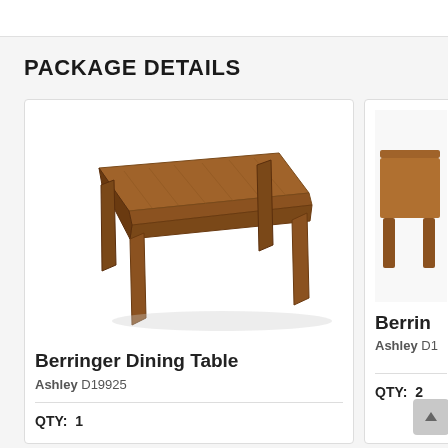PACKAGE DETAILS
[Figure (photo): Berringer Dining Table — a wooden rectangular dining table with four tapered legs, medium brown finish, shown in three-quarter perspective view.]
Berringer Dining Table
Ashley D19925
QTY:  1
[Figure (photo): Partial view of a second Berringer product card, cropped at right edge of page.]
Berrin
Ashley D1
QTY:  2